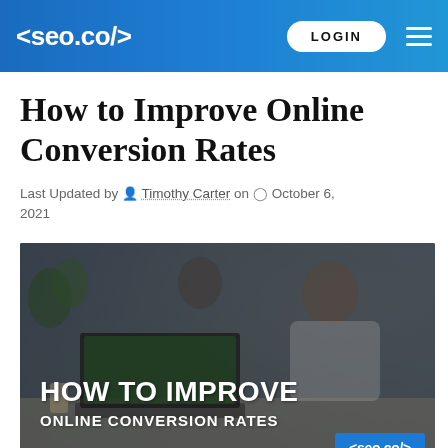<seo.co/>  LOGIN
How to Improve Online Conversion Rates
Last Updated by Timothy Carter on October 6, 2021
[Figure (photo): Hero image showing people working on laptops at a desk, with overlay text reading 'HOW TO IMPROVE ONLINE CONVERSION RATES' and seo.co/ logo badge in bottom right corner]